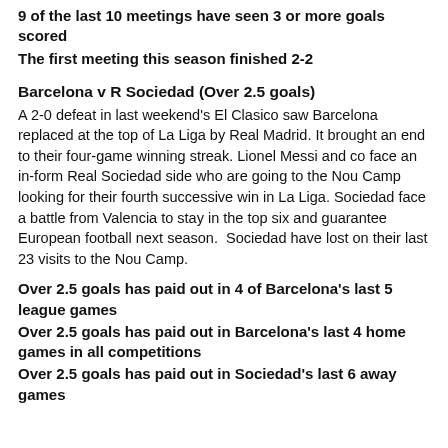9 of the last 10 meetings have seen 3 or more goals scored
The first meeting this season finished 2-2
Barcelona v R Sociedad (Over 2.5 goals)
A 2-0 defeat in last weekend's El Clasico saw Barcelona replaced at the top of La Liga by Real Madrid. It brought an end to their four-game winning streak. Lionel Messi and co face an in-form Real Sociedad side who are going to the Nou Camp looking for their fourth successive win in La Liga. Sociedad face a battle from Valencia to stay in the top six and guarantee European football next season.  Sociedad have lost on their last 23 visits to the Nou Camp.
Over 2.5 goals has paid out in 4 of Barcelona's last 5 league games
Over 2.5 goals has paid out in Barcelona's last 4 home games in all competitions
Over 2.5 goals has paid out in Sociedad's last 6 away games